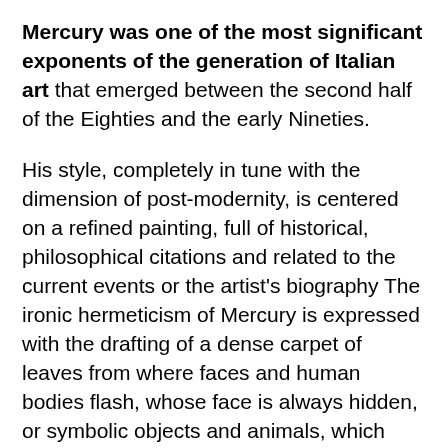Mercury was one of the most significant exponents of the generation of Italian art that emerged between the second half of the Eighties and the early Nineties.
His style, completely in tune with the dimension of post-modernity, is centered on a refined painting, full of historical, philosophical citations and related to the current events or the artist's biography The ironic hermeticism of Mercury is expressed with the drafting of a dense carpet of leaves from where faces and human bodies flash, whose face is always hidden, or symbolic objects and animals, which take on an anthropomorphic function, as divine messengers. The presence of captions integrating the work is frequent, as was typical of the nineteenth-century romantic and pre-Raphaelite tradition. In the last phase of his career, Mercury will expand painting outside the canvas,